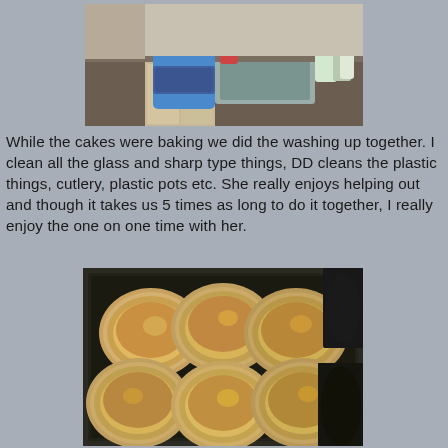[Figure (photo): Child in blue outfit standing at a kitchen sink, doing washing up]
While the cakes were baking we did the washing up together. I clean all the glass and sharp type things, DD cleans the plastic things, cutlery, plastic pots etc. She really enjoys helping out and though it takes us 5 times as long to do it together, I really enjoy the one on one time with her.
[Figure (photo): Six baked pies/cakes in foil tins arranged on a dark baking tray]